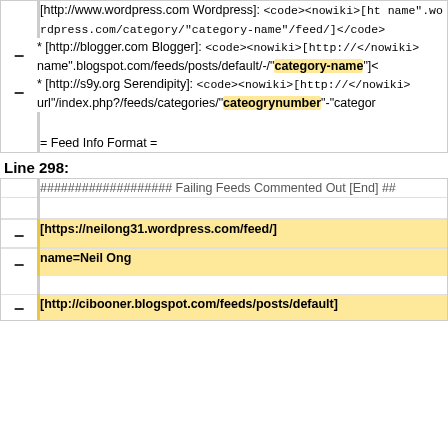[http://www.wordpress.com Wordpress]: <code><nowiki>[ht name".wordpress.com/category/"category-name"/feed/]</code>
* [http://blogger.com Blogger]: <code><nowiki>[http://</nowiki> name".blogspot.com/feeds/posts/default/-/"category-name"]<
* [http://s9y.org Serendipity]: <code><nowiki>[http://</nowiki> url"/index.php?/feeds/categories/"cateogrynumber"-"categor
= Feed Info Format =
Line 298:
################### Failing Feeds Commented Out [End] ##
[https://neilong31.wordpress.com/feed/]
name=Neil Ong
[http://cibooner.blogspot.com/feeds/posts/default]